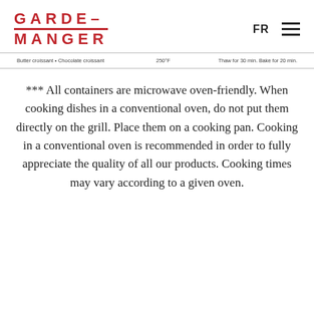GARDE-MANGER  FR ☰
| Butter croissant • Chocolate croissant | 250°F | Thaw for 30 min. Bake for 20 min. |
| --- | --- | --- |
*** All containers are microwave oven-friendly. When cooking dishes in a conventional oven, do not put them directly on the grill. Place them on a cooking pan. Cooking in a conventional oven is recommended in order to fully appreciate the quality of all our products. Cooking times may vary according to a given oven.